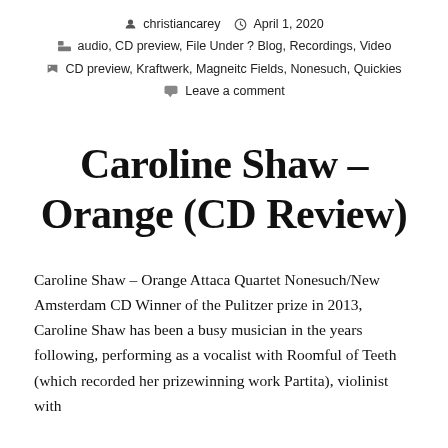christiancarey   April 1, 2020
audio, CD preview, File Under ? Blog, Recordings, Video
CD preview, Kraftwerk, Magneitc Fields, Nonesuch, Quickies
Leave a comment
Caroline Shaw – Orange (CD Review)
Caroline Shaw – Orange Attaca Quartet Nonesuch/New Amsterdam CD Winner of the Pulitzer prize in 2013, Caroline Shaw has been a busy musician in the years following, performing as a vocalist with Roomful of Teeth (which recorded her prizewinning work Partita), violinist with